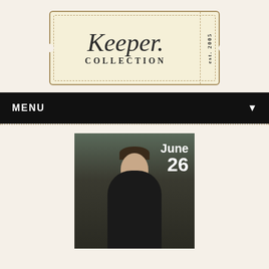[Figure (logo): Keeper Collection logo — ticket-shaped badge with script 'Keeper.' text, 'COLLECTION' in small caps, and 'est. 2005' on the right side tab. Cream/tan background with decorative dotted border.]
MENU
[Figure (photo): Photo of a man in a dark shirt standing in a wine barrel cellar. White text overlay reads 'June 26'.]